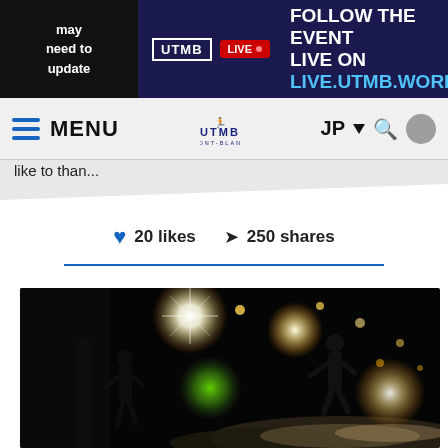may need to update | UTMB LIVE | FOLLOW THE EVENT LIVE ON LIVE.UTMB.WORLD
MENU | UTMB MONT-BLANC | JP ▼ 🔍 👤
like to than...
❤ 20 likes ➤ 250 shares
[Figure (photo): Night trail running scene with runners illuminated by headlamps, showing bright lens flares and light orbs against dark background with trees]